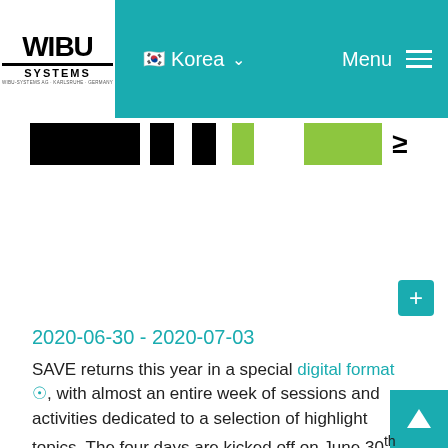WIBU SYSTEMS — Korea — Menu
[Figure (other): Banner strip with black and green rectangular blocks and a greater-than-or-equal symbol]
2020-06-30 - 2020-07-03
SAVE returns this year in a special digital format, with almost an entire week of sessions and activities dedicated to a selection of highlight topics. The four days are kicked off on June 30th with a day all about maintenance 4.0, followed by diagnostics, predictive analytics, and monitoring solutions on July 1st, and control and